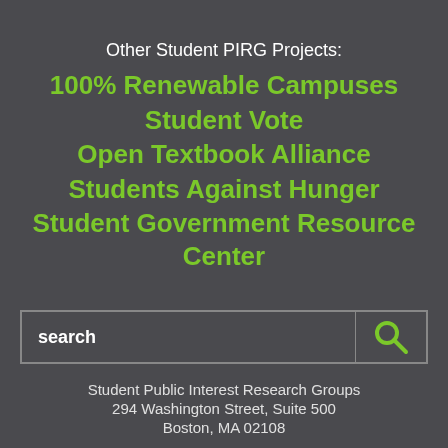Other Student PIRG Projects:
100% Renewable Campuses
Student Vote
Open Textbook Alliance
Students Against Hunger
Student Government Resource Center
[Figure (screenshot): Search bar with text 'search' and a green magnifying glass icon on the right]
Student Public Interest Research Groups
294 Washington Street, Suite 500
Boston, MA 02108